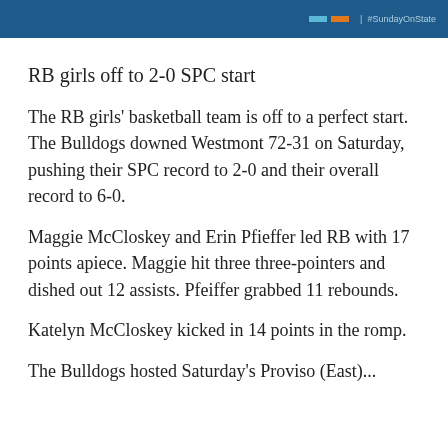[Figure (screenshot): Dark blue banner with blue and orange buttons and hashtag #SundayOnState text]
RB girls off to 2-0 SPC start
The RB girls' basketball team is off to a perfect start. The Bulldogs downed Westmont 72-31 on Saturday, pushing their SPC record to 2-0 and their overall record to 6-0.
Maggie McCloskey and Erin Pfieffer led RB with 17 points apiece. Maggie hit three three-pointers and dished out 12 assists. Pfeiffer grabbed 11 rebounds.
Katelyn McCloskey kicked in 14 points in the romp.
The Bulldogs hosted Saturday's Proviso (East)...